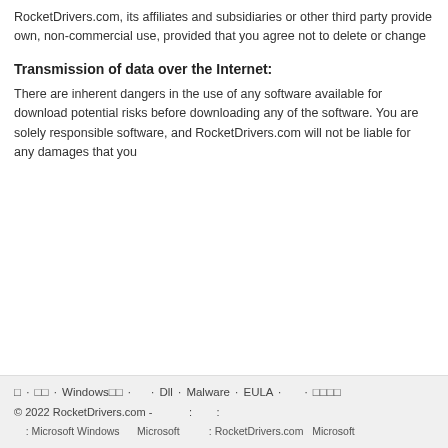RocketDrivers.com, its affiliates and subsidiaries or other third party provide own, non-commercial use, provided that you agree not to delete or change
Transmission of data over the Internet:
There are inherent dangers in the use of any software available for download potential risks before downloading any of the software. You are solely responsible software, and RocketDrivers.com will not be liable for any damages that you
□ · □□ · Windows□□ · · Dll · Malware · EULA · · □□□□
© 2022 RocketDrivers.com - : :
: Microsoft Windows Microsoft : RocketDrivers.com Microsoft